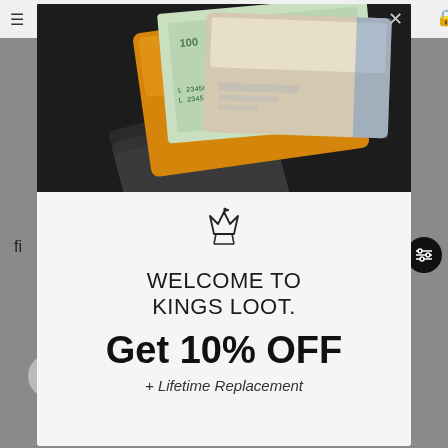[Figure (screenshot): E-commerce website screenshot showing a modal popup overlay for Kings Loot brand on a grey background. The modal has a dark header with an orange leather wallet photo, and a white lower section with a crown logo, welcome message, discount offer, and lifetime replacement text.]
WELCOME TO KINGS LOOT.
Get 10% OFF
+ Lifetime Replacement